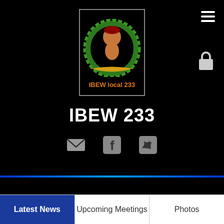[Figure (logo): IBEW Local 233 Montana Strong logo — cartoon figure with fist, green decorative elements, orange text 'IBEW local 233' on black background]
IBEW 233
[Figure (infographic): Three social media icons: email/envelope, Facebook, Twitter — displayed in grey on black background]
[Figure (infographic): Hamburger menu icon (three white lines) in top right corner]
[Figure (infographic): Lock/login icon in top right area]
Latest News
Upcoming Meetings
Photos